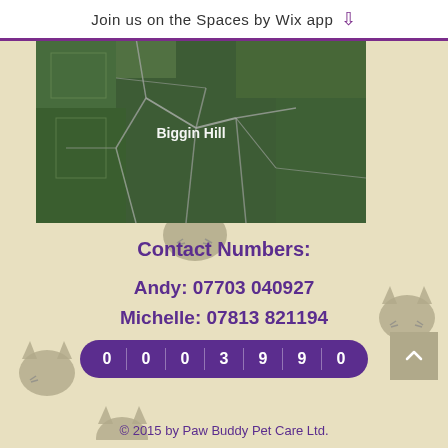Join us on the Spaces by Wix app
[Figure (map): Satellite/aerial map view of Biggin Hill area with road overlays and label 'Biggin Hill']
Contact Numbers:
Andy: 07703 040927
Michelle: 07813 821194
info@pawbuddyspetcare.co.uk
0 0 0 3 9 9 0
© 2015 by Paw Buddy Pet Care Ltd.